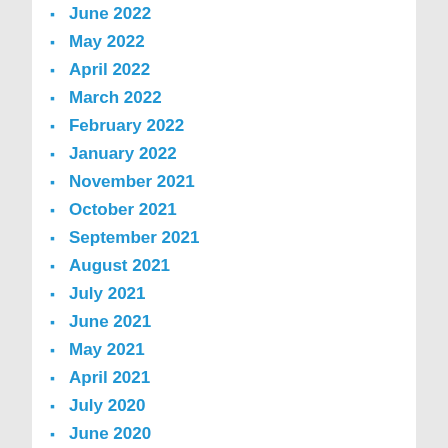June 2022
May 2022
April 2022
March 2022
February 2022
January 2022
November 2021
October 2021
September 2021
August 2021
July 2021
June 2021
May 2021
April 2021
July 2020
June 2020
May 2020
April 2020
March 2020
February 2020
January 2020
December 2019